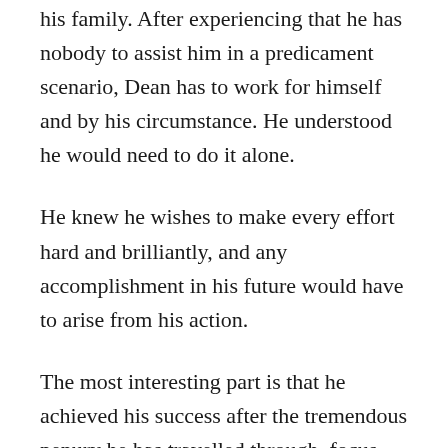his family. After experiencing that he has nobody to assist him in a predicament scenario, Dean has to work for himself and by his circumstance. He understood he would need to do it alone.
He knew he wishes to make every effort hard and brilliantly, and any accomplishment in his future would have to arise from his action.
The most interesting part is that he achieved his success after the tremendous penury he has travelled through, focus and determination are all it requires to attain your success.
Dean didn't have any assistant to help him yet he still left for and could be able to reach the base of the success.